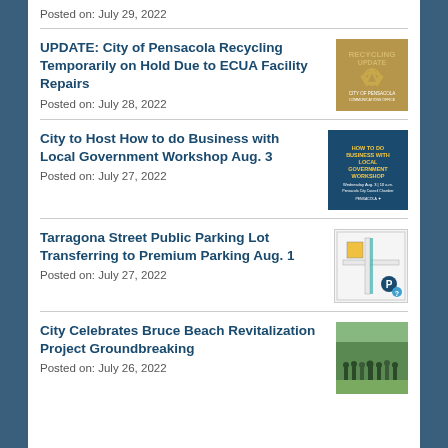Posted on: July 29, 2022
UPDATE: City of Pensacola Recycling Temporarily on Hold Due to ECUA Facility Repairs
Posted on: July 28, 2022
[Figure (illustration): Recycling Update promotional image with recycling symbol on brown/tan background]
City to Host How to do Business with Local Government Workshop Aug. 3
Posted on: July 27, 2022
[Figure (illustration): How to Do Business with Local Government Workshop promotional flyer on dark blue background]
Tarragona Street Public Parking Lot Transferring to Premium Parking Aug. 1
Posted on: July 27, 2022
[Figure (illustration): Parking lot map/diagram showing Tarragona Street area]
City Celebrates Bruce Beach Revitalization Project Groundbreaking
Posted on: July 26, 2022
[Figure (photo): Photo of people gathered outdoors at Bruce Beach groundbreaking ceremony]